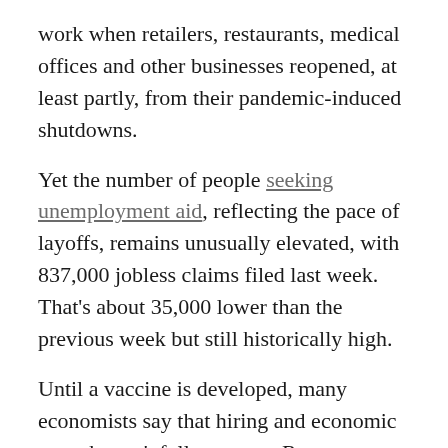work when retailers, restaurants, medical offices and other businesses reopened, at least partly, from their pandemic-induced shutdowns.
Yet the number of people seeking unemployment aid, reflecting the pace of layoffs, remains unusually elevated, with 837,000 jobless claims filed last week. That's about 35,000 lower than the previous week but still historically high.
Until a vaccine is developed, many economists say that hiring and economic growth won't fully recover. Restaurants, for example, rehired many